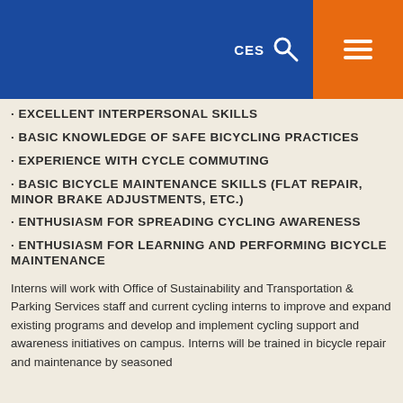CES
EXCELLENT INTERPERSONAL SKILLS
BASIC KNOWLEDGE OF SAFE BICYCLING PRACTICES
EXPERIENCE WITH CYCLE COMMUTING
BASIC BICYCLE MAINTENANCE SKILLS (FLAT REPAIR, MINOR BRAKE ADJUSTMENTS, ETC.)
ENTHUSIASM FOR SPREADING CYCLING AWARENESS
ENTHUSIASM FOR LEARNING AND PERFORMING BICYCLE MAINTENANCE
Interns will work with Office of Sustainability and Transportation & Parking Services staff and current cycling interns to improve and expand existing programs and develop and implement cycling support and awareness initiatives on campus. Interns will be trained in bicycle repair and maintenance by seasoned